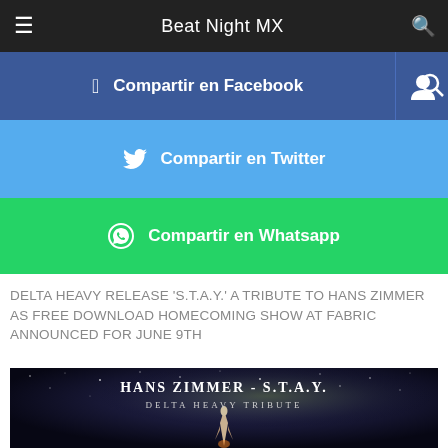Beat Night MX
[Figure (screenshot): Facebook share button - Compartir en Facebook]
[Figure (screenshot): Twitter share button - Compartir en Twitter]
[Figure (screenshot): Whatsapp share button - Compartir en Whatsapp]
DELTA HEAVY RELEASE 'S.T.A.Y.' A TRIBUTE TO HANS ZIMMER AS FREE DOWNLOAD HOMECOMING SHOW AT FABRIC ANNOUNCED FOR JUNE 9TH
[Figure (photo): Album art for Hans Zimmer - S.T.A.Y. Delta Heavy Tribute, showing a rocket launch against a starry cosmic background]